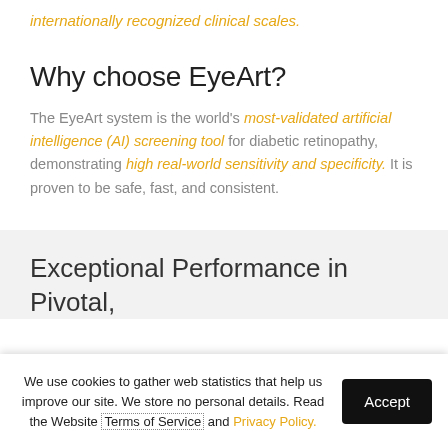internationally recognized clinical scales.
Why choose EyeArt?
The EyeArt system is the world's most-validated artificial intelligence (AI) screening tool for diabetic retinopathy, demonstrating high real-world sensitivity and specificity. It is proven to be safe, fast, and consistent.
Exceptional Performance in Pivotal,
We use cookies to gather web statistics that help us improve our site. We store no personal details. Read the Website Terms of Service and Privacy Policy.